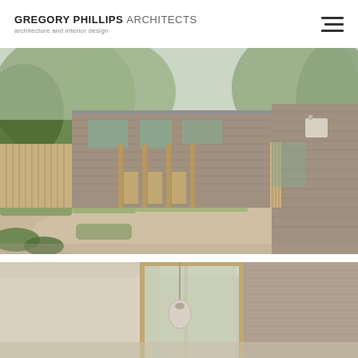GREGORY PHILLIPS ARCHITECTS — architecture and interior design
[Figure (photo): Exterior view of a modern brick house with timber cladding, large windows, and gravel driveway surrounded by mature trees]
[Figure (photo): Interior view of a modern house showing a light-filled space with pendant light and brick wall details]